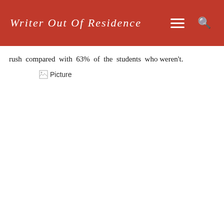Writer Out Of Residence
rush compared with 63% of the students who weren't.
[Figure (other): Broken image placeholder labeled 'Picture']